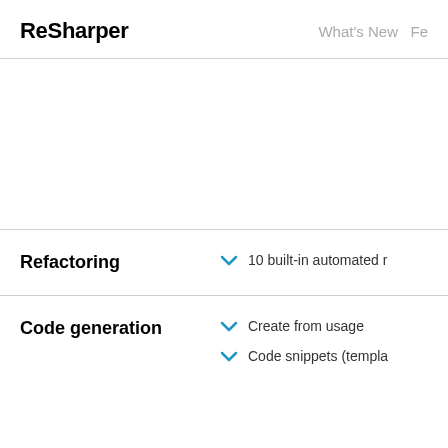ReSharper   What's New  Fe
Refactoring
10 built-in automated r
Code generation
Create from usage
Code snippets (templa